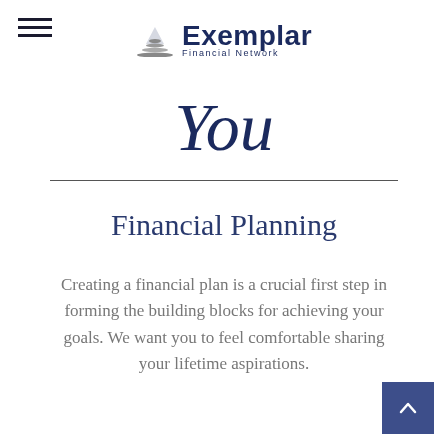Exemplar Financial Network
You
Financial Planning
Creating a financial plan is a crucial first step in forming the building blocks for achieving your goals. We want you to feel comfortable sharing your lifetime aspirations.